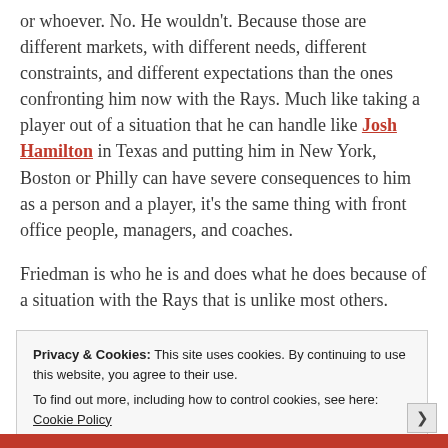or whoever. No. He wouldn't. Because those are different markets, with different needs, different constraints, and different expectations than the ones confronting him now with the Rays. Much like taking a player out of a situation that he can handle like Josh Hamilton in Texas and putting him in New York, Boston or Philly can have severe consequences to him as a person and a player, it's the same thing with front office people, managers, and coaches.
Friedman is who he is and does what he does because of a situation with the Rays that is unlike most others.
Privacy & Cookies: This site uses cookies. By continuing to use this website, you agree to their use. To find out more, including how to control cookies, see here: Cookie Policy